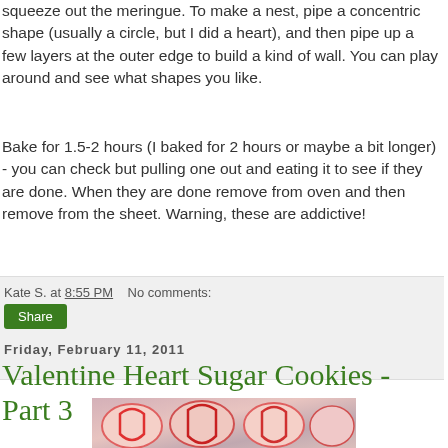squeeze out the meringue. To make a nest, pipe a concentric shape (usually a circle, but I did a heart), and then pipe up a few layers at the outer edge to build a kind of wall. You can play around and see what shapes you like.
Bake for 1.5-2 hours (I baked for 2 hours or maybe a bit longer) - you can check but pulling one out and eating it to see if they are done. When they are done remove from oven and then remove from the sheet. Warning, these are addictive!
Kate S. at 8:55 PM   No comments:
Share
Friday, February 11, 2011
Valentine Heart Sugar Cookies - Part 3
[Figure (photo): Photo of heart-shaped sugar cookies with pink and red frosting on a light background]